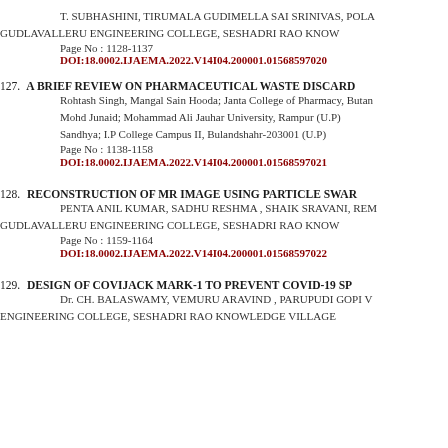T. SUBHASHINI, TIRUMALA GUDIMELLA SAI SRINIVAS, POLA... GUDLAVALLERU ENGINEERING COLLEGE, SESHADRI RAO KNOW...
Page No : 1128-1137
DOI:18.0002.IJAEMA.2022.V14I04.200001.01568597020
127. A BRIEF REVIEW ON PHARMACEUTICAL WASTE DISCARD...
Rohtash Singh, Mangal Sain Hooda; Janta College of Pharmacy, Butan...
Mohd Junaid; Mohammad Ali Jauhar University, Rampur (U.P)
Sandhya; I.P College Campus II, Bulandshahr-203001 (U.P)
Page No : 1138-1158
DOI:18.0002.IJAEMA.2022.V14I04.200001.01568597021
128. RECONSTRUCTION OF MR IMAGE USING PARTICLE SWAR...
PENTA ANIL KUMAR, SADHU RESHMA , SHAIK SRAVANI, REM... GUDLAVALLERU ENGINEERING COLLEGE, SESHADRI RAO KNOW...
Page No : 1159-1164
DOI:18.0002.IJAEMA.2022.V14I04.200001.01568597022
129. DESIGN OF COVIJACK MARK-1 TO PREVENT COVID-19 SP...
Dr. CH. BALASWAMY, VEMURU ARAVIND , PARUPUDI GOPI V... ENGINEERING COLLEGE, SESHADRI RAO KNOWLEDGE VILLAGE...